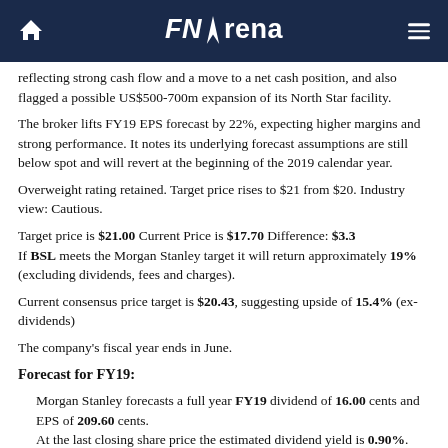FNArena
reflecting strong cash flow and a move to a net cash position, and also flagged a possible US$500-700m expansion of its North Star facility.
The broker lifts FY19 EPS forecast by 22%, expecting higher margins and strong performance. It notes its underlying forecast assumptions are still below spot and will revert at the beginning of the 2019 calendar year.
Overweight rating retained. Target price rises to $21 from $20. Industry view: Cautious.
Target price is $21.00 Current Price is $17.70 Difference: $3.3
If BSL meets the Morgan Stanley target it will return approximately 19% (excluding dividends, fees and charges).
Current consensus price target is $20.43, suggesting upside of 15.4% (ex-dividends)
The company's fiscal year ends in June.
Forecast for FY19:
Morgan Stanley forecasts a full year FY19 dividend of 16.00 cents and EPS of 209.60 cents.
At the last closing share price the estimated dividend yield is 0.90%.